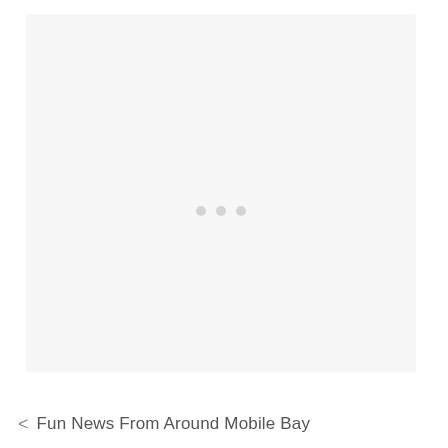[Figure (other): Large light gray rectangular area, nearly blank, with three small light gray dots centered near the vertical midpoint, suggesting a loading or placeholder state.]
< Fun News From Around Mobile Bay